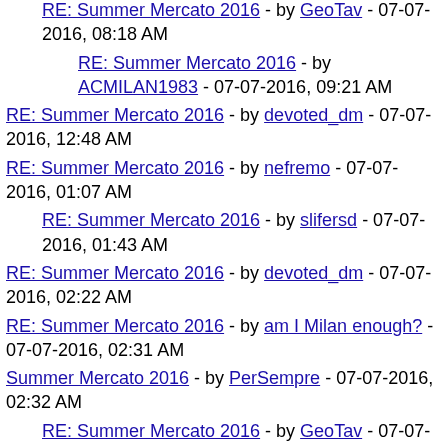RE: Summer Mercato 2016 - by GeoTav - 07-07-2016, 08:18 AM
RE: Summer Mercato 2016 - by ACMILAN1983 - 07-07-2016, 09:21 AM
RE: Summer Mercato 2016 - by devoted_dm - 07-07-2016, 12:48 AM
RE: Summer Mercato 2016 - by nefremo - 07-07-2016, 01:07 AM
RE: Summer Mercato 2016 - by slifersd - 07-07-2016, 01:43 AM
RE: Summer Mercato 2016 - by devoted_dm - 07-07-2016, 02:22 AM
RE: Summer Mercato 2016 - by am I Milan enough? - 07-07-2016, 02:31 AM
Summer Mercato 2016 - by PerSempre - 07-07-2016, 02:32 AM
RE: Summer Mercato 2016 - by GeoTav - 07-07-2016, 08:26 AM
RE: Summer Mercato 2016 - by devoted_dm - 07-07-2016, 08:32 AM
RE: Summer Mercato 2016 - by Beppe - 07-07-2016, 08:37 AM
Summer Mercato 2016 - by PerSempre - 07-07-2016, 08:50 AM
RE: Summer Mercato 2016 - by GeoTav - 07-07-2016, 09:20